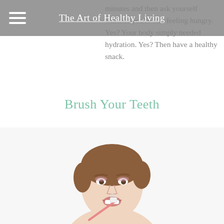The Art of Healthy Living
minutes and then ask yourself whether you're still feeling hungry. Yes? Your body simply needed hydration. Yes? Then have a healthy snack.
Brush Your Teeth
If you're trying to lose weight, trying to avoid sugar or attempting to stop any bad habits you may have formed, this simple little trick is so effective.
[Figure (photo): A woman with short brown hair brushing her teeth, smiling, on a white background.]